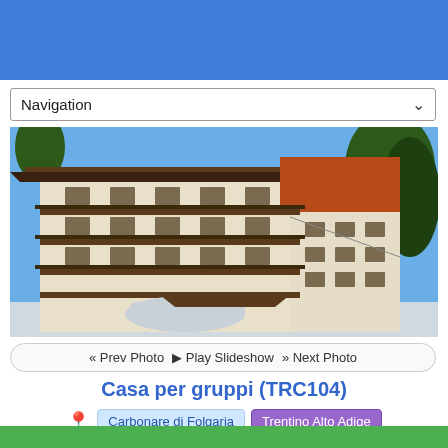[Figure (photo): Blue header banner at top of webpage]
Navigation
[Figure (photo): Photograph of an Alpine-style multi-story building (Casa per gruppi TRC104) with wooden balconies, white and orange facade, surrounded by trees, with snow on the ground and cars parked in front.]
<< Prev Photo  ▶ Play Slideshow  >> Next Photo
Casa per gruppi (TRC104)
Carbonare di Folgaria  Trentino Alto Adige